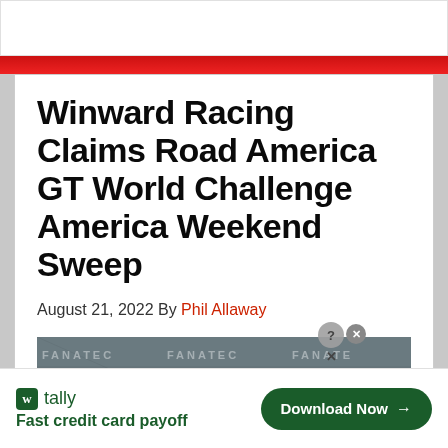Winward Racing Claims Road America GT World Challenge America Weekend Sweep
August 21, 2022 By Phil Allaway
[Figure (photo): Two people wearing dark caps with team badges standing in front of a FANATEC branded backdrop at a racing event podium]
w tally Fast credit card payoff
Download Now →